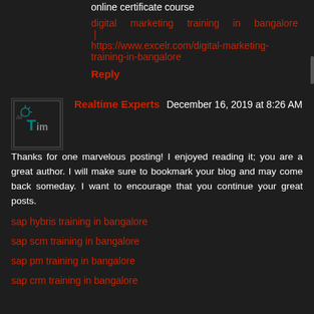online certificate course
digital marketing training in bangalore | https://www.excelr.com/digital-marketing-training-in-bangalore
Reply
Realtime Experts  December 16, 2019 at 8:26 AM
Thanks for one marvelous posting! I enjoyed reading it; you are a great author. I will make sure to bookmark your blog and may come back someday. I want to encourage that you continue your great posts.
sap hybris training in bangalore
sap scm training in bangalore
sap pm training in bangalore
sap crm training in bangalore